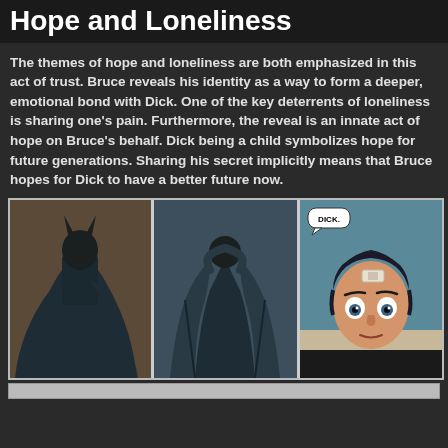Hope and Loneliness
The themes of hope and loneliness are both emphasized in this act of trust. Bruce reveals his identity as a way to form a deeper, emotional bond with Dick. One of the key deterrents of loneliness is sharing one's pain.  Furthermore, the reveal is an innate act of hope on Bruce's behalf. Dick being a child symbolizes hope for future generations. Sharing his secret implicitly means that Bruce hopes for Dick to have a better future now.
[Figure (illustration): Three-panel comic strip. Panel 1: Dark silhouette of Batman from behind against a brownish background. Panel 2: Batman from behind removing his cowl/mask, dark teal background. Panel 3: Close-up of Dick's face looking shocked/surprised, with a bandage on his forehead, teal background, speech bubble saying 'DICK.']